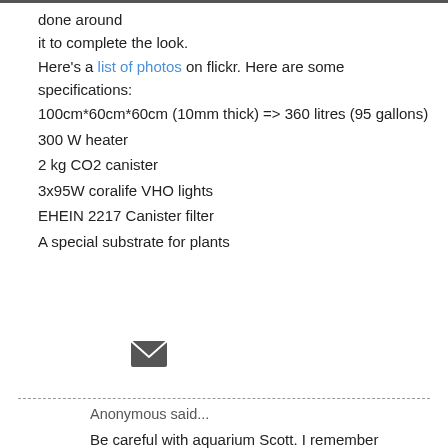done around
it to complete the look.
Here's a list of photos on flickr. Here are some specifications:
100cm*60cm*60cm (10mm thick) => 360 litres (95 gallons)
300 W heater
2 kg CO2 canister
3x95W coralife VHO lights
EHEIN 2217 Canister filter
A special substrate for plants
[Figure (illustration): Email/envelope icon]
Anonymous said...
Be careful with aquarium Scott. I remember one that exploded in pieces when we were in Rez at Champlain.
Marty